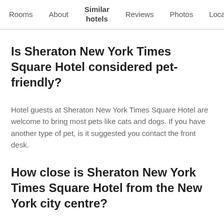Rooms   About   Similar hotels   Reviews   Photos   Loca…
Is Sheraton New York Times Square Hotel considered pet-friendly?
Hotel guests at Sheraton New York Times Square Hotel are welcome to bring most pets like cats and dogs. If you have another type of pet, is it suggested you contact the front desk.
How close is Sheraton New York Times Square Hotel from the New York city centre?
Sheraton New York Times Square Hotel is 0.3 km away from the centre of Manhattan, New York. Consider visiting Brooklyn Bridge, a popular landmark that can be accessed from Sheraton New York Times Square Hotel by various forms of transportation.